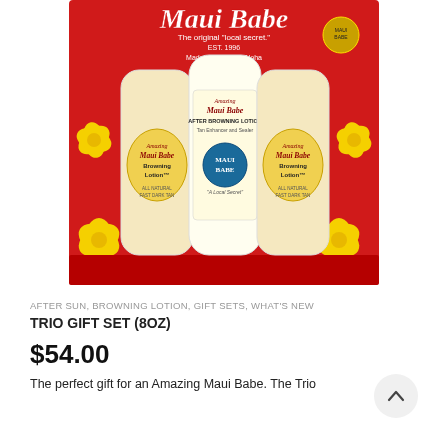[Figure (photo): Maui Babe Trio Gift Set product photo showing a red gift box with Hawaiian floral design containing three bottles: two Browning Lotion bottles and one After Browning Lotion bottle in the center. The box prominently displays the Maui Babe logo at the top with text 'The original local secret. EST. 1996. Made in Maui with Aloha.']
AFTER SUN, BROWNING LOTION, GIFT SETS, WHAT'S NEW
TRIO GIFT SET (8OZ)
$54.00
The perfect gift for an Amazing Maui Babe. The Trio